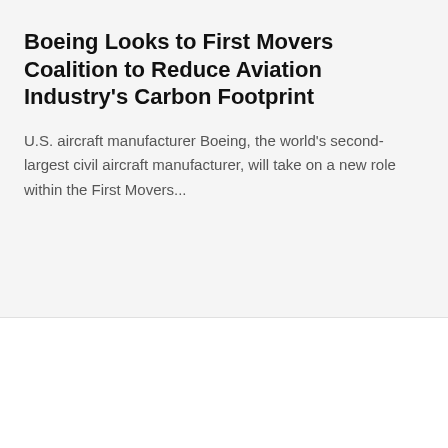Boeing Looks to First Movers Coalition to Reduce Aviation Industry's Carbon Footprint
U.S. aircraft manufacturer Boeing, the world's second-largest civil aircraft manufacturer, will take on a new role within the First Movers...